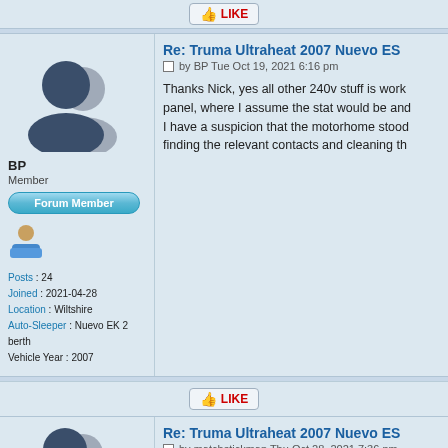[Figure (other): LIKE button at top]
[Figure (other): Forum post by BP - Re: Truma Ultraheat 2007 Nuevo ES, Tue Oct 19, 2021 6:16 pm]
BP
Member
Posts : 24
Joined : 2021-04-28
Location : Wiltshire
Auto-Sleeper : Nuevo EK 2 berth
Vehicle Year : 2007
Thanks Nick, yes all other 240v stuff is working... panel, where I assume the stat would be and... I have a suspicion that the motorhome stood... finding the relevant contacts and cleaning th...
[Figure (other): LIKE button below BP post]
[Figure (other): Forum post by matchstickman - Re: Truma Ultraheat 2007 Nuevo ES, Thu Oct 28, 2021 7:36 pm]
If you are still looking for someone fairly loca... called Miles a ring on 01179270045